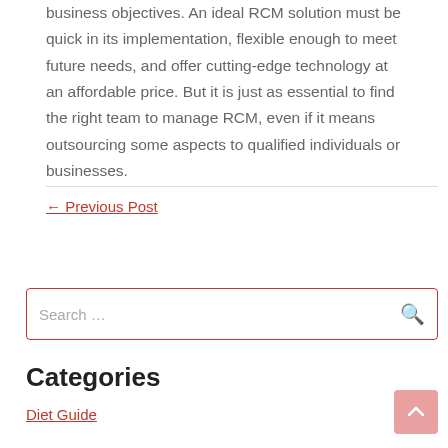business objectives. An ideal RCM solution must be quick in its implementation, flexible enough to meet future needs, and offer cutting-edge technology at an affordable price. But it is just as essential to find the right team to manage RCM, even if it means outsourcing some aspects to qualified individuals or businesses.
← Previous Post
Search ...
Categories
Diet Guide